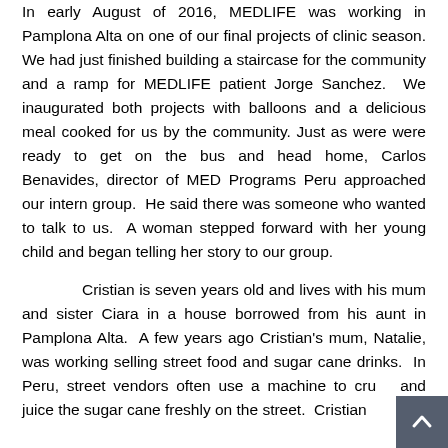In early August of 2016, MEDLIFE was working in Pamplona Alta on one of our final projects of clinic season. We had just finished building a staircase for the community and a ramp for MEDLIFE patient Jorge Sanchez. We inaugurated both projects with balloons and a delicious meal cooked for us by the community. Just as were were ready to get on the bus and head home, Carlos Benavides, director of MED Programs Peru approached our intern group. He said there was someone who wanted to talk to us. A woman stepped forward with her young child and began telling her story to our group.
Cristian is seven years old and lives with his mum and sister Ciara in a house borrowed from his aunt in Pamplona Alta. A few years ago Cristian's mum, Natalie, was working selling street food and sugar cane drinks. In Peru, street vendors often use a machine to crush and juice the sugar cane freshly on the street. Cristian...